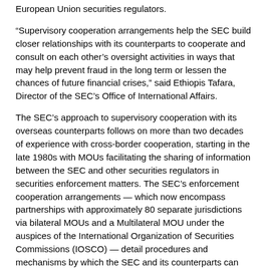European Union securities regulators.
“Supervisory cooperation arrangements help the SEC build closer relationships with its counterparts to cooperate and consult on each other’s oversight activities in ways that may help prevent fraud in the long term or lessen the chances of future financial crises,” said Ethiopis Tafara, Director of the SEC’s Office of International Affairs.
The SEC’s approach to supervisory cooperation with its overseas counterparts follows on more than two decades of experience with cross-border cooperation, starting in the late 1980s with MOUs facilitating the sharing of information between the SEC and other securities regulators in securities enforcement matters. The SEC’s enforcement cooperation arrangements — which now encompass partnerships with approximately 80 separate jurisdictions via bilateral MOUs and a Multilateral MOU under the auspices of the International Organization of Securities Commissions (IOSCO) — detail procedures and mechanisms by which the SEC and its counterparts can collect and share investigatory information where there are suspicions of a violation of either jurisdiction’s securities laws, and after a potential problem has arisen.